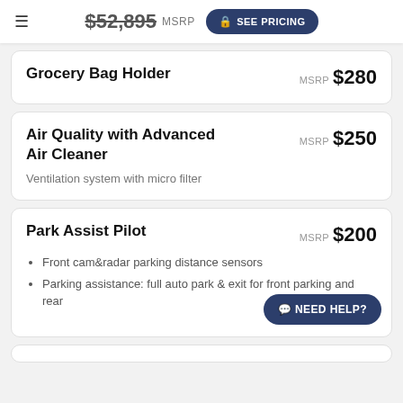$52,895 MSRP  SEE PRICING
Grocery Bag Holder
MSRP $280
Air Quality with Advanced Air Cleaner
MSRP $250
Ventilation system with micro filter
Park Assist Pilot
MSRP $200
Front cam&radar parking distance sensors
Parking assistance: full auto park & exit for front parking and rear